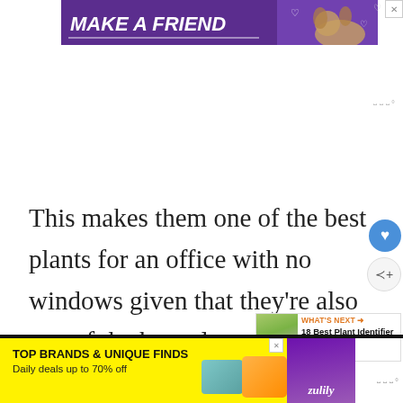[Figure (infographic): Purple advertisement banner reading MAKE A FRIEND with a dog illustration and heart icons, with close X button]
This makes them one of the best plants for an office with no windows given that they’re also one of the best plants for purifying the air.
[Figure (infographic): WHAT'S NEXT callout box with thumbnail photo of flowers and text: 18 Best Plant Identifier Ap...]
[Figure (infographic): Bottom advertisement banner: TOP BRANDS & UNIQUE FINDS - Daily deals up to 70% off - Zulily branding with shoe and bag imagery]